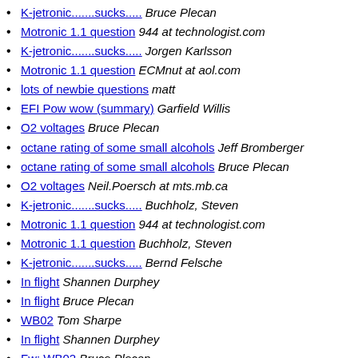K-jetronic.......sucks.....  Bruce Plecan
Motronic 1.1 question  944 at technologist.com
K-jetronic.......sucks.....  Jorgen Karlsson
Motronic 1.1 question  ECMnut at aol.com
lots of newbie questions  matt
EFI Pow wow (summary)  Garfield Willis
O2 voltages  Bruce Plecan
octane rating of some small alcohols  Jeff Bromberger
octane rating of some small alcohols  Bruce Plecan
O2 voltages  Neil.Poersch at mts.mb.ca
K-jetronic.......sucks.....  Buchholz, Steven
Motronic 1.1 question  944 at technologist.com
Motronic 1.1 question  Buchholz, Steven
K-jetronic.......sucks.....  Bernd Felsche
In flight  Shannen Durphey
In flight  Bruce Plecan
WB02  Tom Sharpe
In flight  Shannen Durphey
Fw: WB02  Bruce Plecan
O2 voltages  Programmer
O2 voltages  Bruce Plecan
O2 voltages  TK
O2 voltages  Bruce Plecan
O2 voltages  TK
O2 voltages  Bruce Plecan
O2 voltages  Bruce...